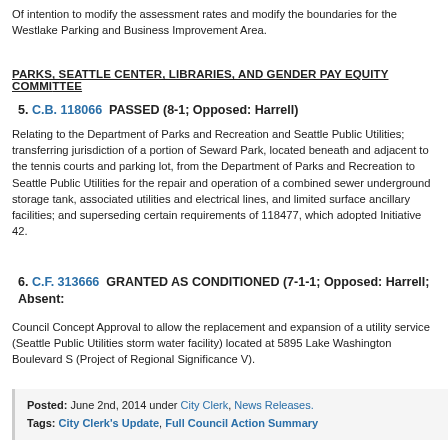Of intention to modify the assessment rates and modify the boundaries for the Westlake Parking and Business Improvement Area.
PARKS, SEATTLE CENTER, LIBRARIES, AND GENDER PAY EQUITY COMMITTEE
5. C.B. 118066  PASSED (8-1; Opposed: Harrell)
Relating to the Department of Parks and Recreation and Seattle Public Utilities; transferring jurisdiction of a portion of Seward Park, located beneath and adjacent to the tennis courts and parking lot, from the Department of Parks and Recreation to Seattle Public Utilities for the repair and operation of a combined sewer underground storage tank, associated utilities and electrical lines, and limited surface ancillary facilities; and superseding certain requirements of 118477, which adopted Initiative 42.
6. C.F. 313666  GRANTED AS CONDITIONED (7-1-1; Opposed: Harrell; Absent:
Council Concept Approval to allow the replacement and expansion of a utility service (Seattle Public Utilities storm water facility) located at 5895 Lake Washington Boulevard S (Project of Regional Significance V).
Posted: June 2nd, 2014 under City Clerk, News Releases.
Tags: City Clerk's Update, Full Council Action Summary